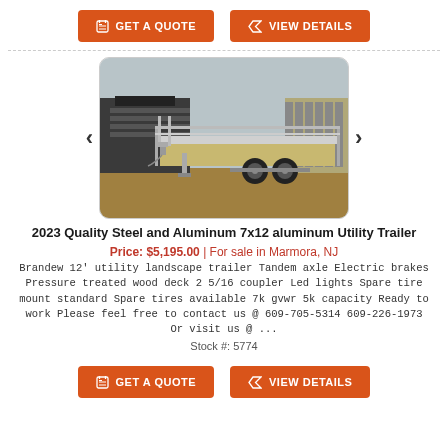[Figure (other): GET A QUOTE and VIEW DETAILS orange buttons at top]
[Figure (photo): Photo of a 2023 aluminum utility trailer parked outdoors on gravel/dirt, with other trailers visible in background]
2023 Quality Steel and Aluminum 7x12 aluminum Utility Trailer
Price: $5,195.00 | For sale in Marmora, NJ
Brandew 12' utility landscape trailer Tandem axle Electric brakes Pressure treated wood deck 2 5/16 coupler Led lights Spare tire mount standard Spare tires available 7k gvwr 5k capacity Ready to work Please feel free to contact us @ 609-705-5314 609-226-1973 Or visit us @ ...
Stock #: 5774
[Figure (other): GET A QUOTE and VIEW DETAILS orange buttons at bottom]